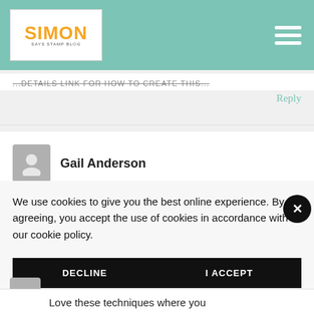Simon Says Stamp Blog
...details link for how to create this...
Reply
Gail Anderson
We use cookies to give you the best online experience. By agreeing, you accept the use of cookies in accordance with our cookie policy.
DECLINE
I ACCEPT
Privacy Policy   Cookie Policy
Love these techniques where you